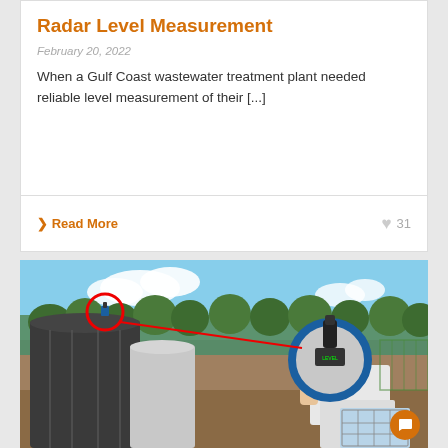Radar Level Measurement
February 20, 2022
When a Gulf Coast wastewater treatment plant needed reliable level measurement of their [...]
❯ Read More
31
[Figure (photo): Photo of a radar level sensor being held by a person near industrial storage tanks outdoors. A red circle highlights a small sensor mounted on top of a large dark cylindrical tank, with a red line pointing to the handheld device. Background shows trees, blue sky, and white tanks.]